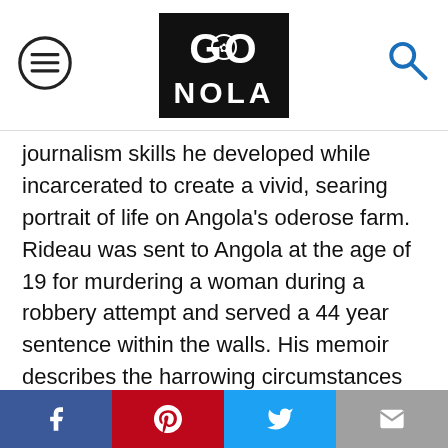GO NOLA logo with menu and search icons
journalism skills he developed while incarcerated to create a vivid, searing portrait of life on Angola's oderose farm. Rideau was sent to Angola at the age of 19 for murdering a woman during a robbery attempt and served a 44 year sentence within the walls. His memoir describes the harrowing circumstances within the prison and explores his own crime and his path toward redemption.

In his memoir, In the Sanctuary of Outcasts (William Morrow), Neil White describes his time spent incarcerated in Carville, LA. White spent
Social share buttons: Facebook, Pinterest, Twitter, Email